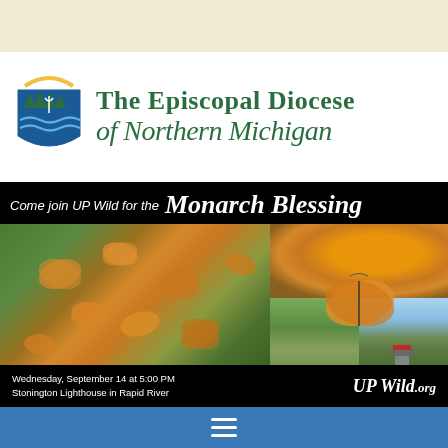[Figure (logo): The Episcopal Diocese of Northern Michigan logo with shield icon featuring trees, cross, and waves, alongside the organization name in green text]
[Figure (infographic): Monarch Blessing event flyer on black background: 'Come join UP Wild for the Monarch Blessing' with photos of monarch butterflies, a gathering of people outdoors, and Stonington Lighthouse. Event details: Wednesday, September 14 at 5:00 PM, Stonington Lighthouse in Rapid River. UPWild.org logo shown.]
[Figure (other): Blue navigation bar with white hamburger menu icon (three horizontal lines)]